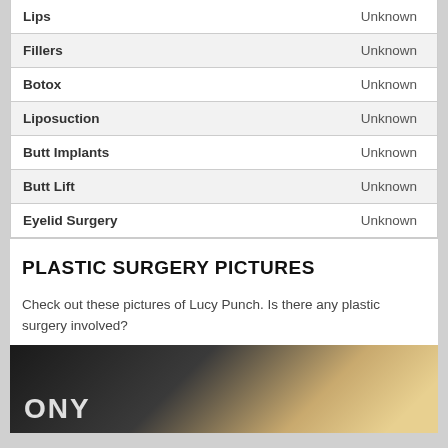| Procedure | Result |
| --- | --- |
| Lips | Unknown |
| Fillers | Unknown |
| Botox | Unknown |
| Liposuction | Unknown |
| Butt Implants | Unknown |
| Butt Lift | Unknown |
| Eyelid Surgery | Unknown |
PLASTIC SURGERY PICTURES
Check out these pictures of Lucy Punch. Is there any plastic surgery involved?
[Figure (photo): Photo of Lucy Punch at a Sony event, showing a blonde woman in front of a dark background with 'ONY' text visible]